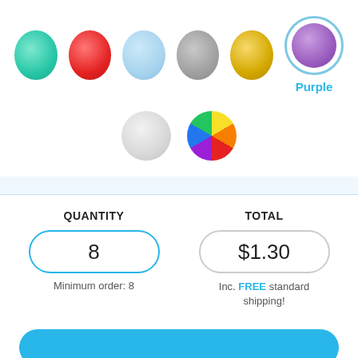[Figure (illustration): Eight color selection circles in two rows. Top row: teal/mint, red, light blue, gray, gold/yellow, purple (selected, with blue ring outline). Second row: white/light gray, multicolor rainbow circle. Selected color label 'Purple' shown in cyan below the purple circle.]
Purple
| QUANTITY | TOTAL |
| --- | --- |
| 8 | $1.30 |
Minimum order: 8
Inc. FREE standard shipping!